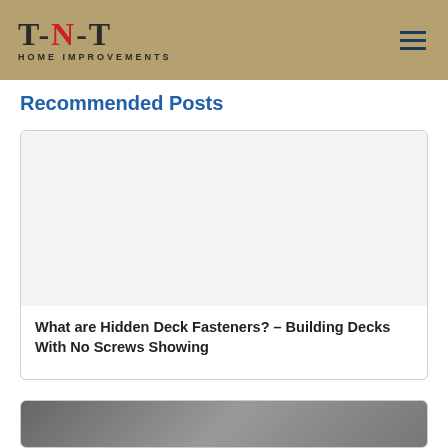T-N-T HOME IMPROVEMENTS
Recommended Posts
[Figure (screenshot): Blank white post card image area for 'What are Hidden Deck Fasteners?' post]
What are Hidden Deck Fasteners? – Building Decks With No Screws Showing
[Figure (photo): Partial photo at bottom of page, appears to show a deck or outdoor structure]